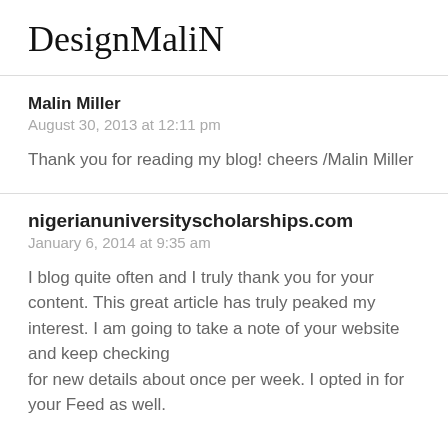DesignMaliN
Malin Miller
August 30, 2013 at 12:11 pm
Thank you for reading my blog! cheers /Malin Miller
nigerianuniversityscholarships.com
January 6, 2014 at 9:35 am
I blog quite often and I truly thank you for your content. This great article has truly peaked my interest. I am going to take a note of your website and keep checking for new details about once per week. I opted in for your Feed as well.